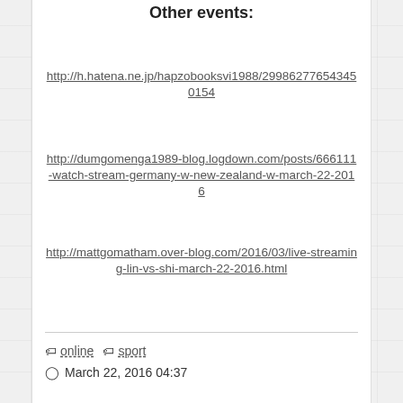Other events:
http://h.hatena.ne.jp/hapzobooksvi1988/299862776543450154
http://dumgomenga1989-blog.logdown.com/posts/666111-watch-stream-germany-w-new-zealand-w-march-22-2016
http://mattgomatham.over-blog.com/2016/03/live-streaming-lin-vs-shi-march-22-2016.html
online
sport
March 22, 2016 04:37